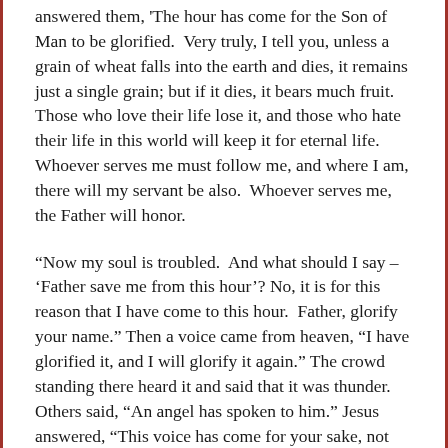answered them, 'The hour has come for the Son of Man to be glorified.  Very truly, I tell you, unless a grain of wheat falls into the earth and dies, it remains just a single grain; but if it dies, it bears much fruit.  Those who love their life lose it, and those who hate their life in this world will keep it for eternal life.  Whoever serves me must follow me, and where I am, there will my servant be also.  Whoever serves me, the Father will honor.
“Now my soul is troubled.  And what should I say – ‘Father save me from this hour’? No, it is for this reason that I have come to this hour.  Father, glorify your name.” Then a voice came from heaven, “I have glorified it, and I will glorify it again.” The crowd standing there heard it and said that it was thunder.  Others said, “An angel has spoken to him.” Jesus answered, “This voice has come for your sake, not for mine.  Now is the judgment of this world; now the ruler of this world will be driven out.  And I, when